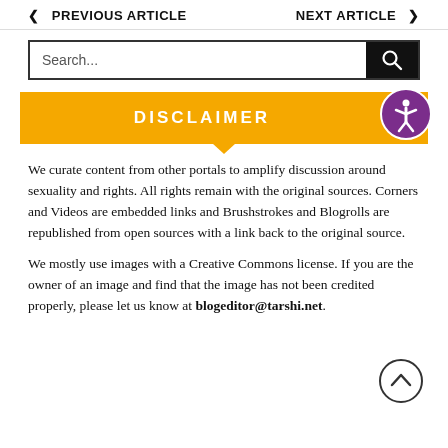PREVIOUS ARTICLE   NEXT ARTICLE
[Figure (other): Search bar with search button]
DISCLAIMER
We curate content from other portals to amplify discussion around sexuality and rights. All rights remain with the original sources. Corners and Videos are embedded links and Brushstrokes and Blogrolls are republished from open sources with a link back to the original source.
We mostly use images with a Creative Commons license. If you are the owner of an image and find that the image has not been credited properly, please let us know at blogeditor@tarshi.net.